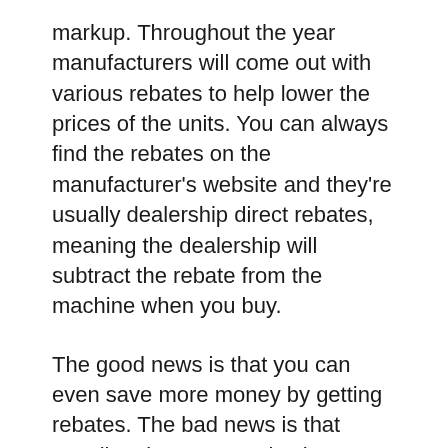markup. Throughout the year manufacturers will come out with various rebates to help lower the prices of the units. You can always find the rebates on the manufacturer's website and they're usually dealership direct rebates, meaning the dealership will subtract the rebate from the machine when you buy.
The good news is that you can even save more money by getting rebates. The bad news is that usually rebates are only given at the end of the season or on leftover models. In the summer most dealerships have sold out of all the prior year models.